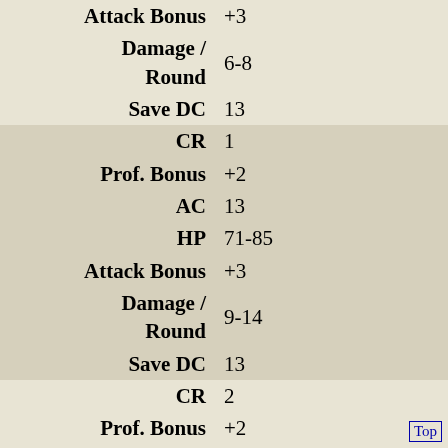| Stat | Value |
| --- | --- |
| Attack Bonus | +3 |
| Damage / Round | 6-8 |
| Save DC | 13 |
| CR | 1 |
| Prof. Bonus | +2 |
| AC | 13 |
| HP | 71-85 |
| Attack Bonus | +3 |
| Damage / Round | 9-14 |
| Save DC | 13 |
| CR | 2 |
| Prof. Bonus | +2 |
| AC | 13 |
| HP | 86-100 |
| Attack Bonus | +3 |